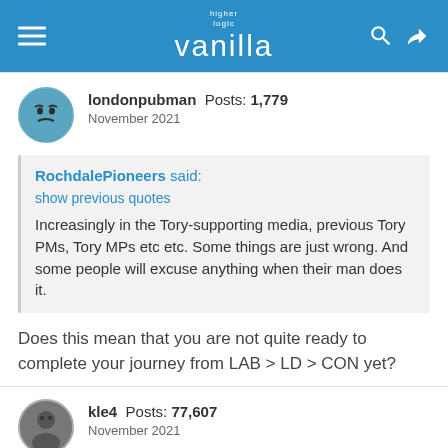higher logic vanilla
londonpubman Posts: 1,779 November 2021
RochdalePioneers said:
show previous quotes
Increasingly in the Tory-supporting media, previous Tory PMs, Tory MPs etc etc. Some things are just wrong. And some people will excuse anything when their man does it.
Does this mean that you are not quite ready to complete your journey from LAB > LD > CON yet?
kle4 Posts: 77,607 November 2021